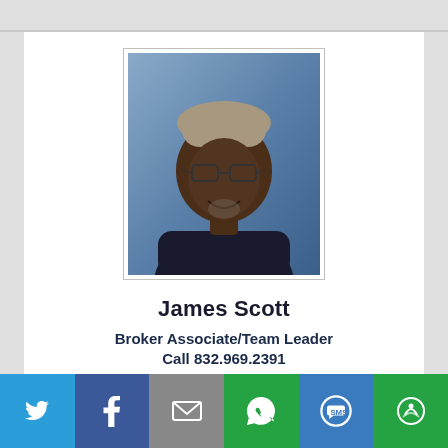[Figure (photo): Headshot photo of James Scott, a man with grey hair and glasses, wearing a dark shirt, against a blue background.]
James Scott
Broker Associate/Team Leader
Call 832.969.2391
[Figure (infographic): Social media sharing bar with icons for Twitter, Facebook, Email, WhatsApp, SMS, and More (share).]